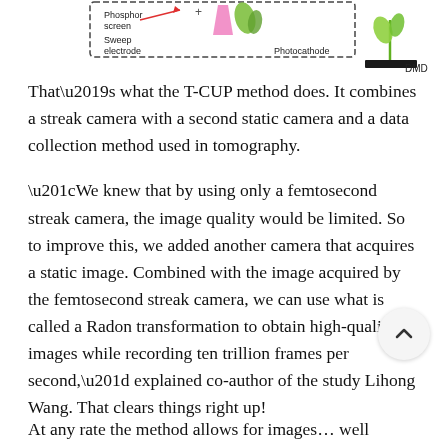[Figure (schematic): Partial view of a diagram showing components: Phosphor screen, Sweep electrode, Photocathode, and DMD labels with colored arrows and schematic elements.]
That’s what the T-CUP method does. It combines a streak camera with a second static camera and a data collection method used in tomography.
“We knew that by using only a femtosecond streak camera, the image quality would be limited. So to improve this, we added another camera that acquires a static image. Combined with the image acquired by the femtosecond streak camera, we can use what is called a Radon transformation to obtain high-quality images while recording ten trillion frames per second,” explained co-author of the study Lihong Wang. That clears things right up!
At any rate the method allows for images… well